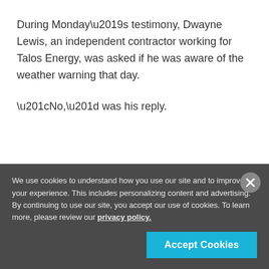During Monday’s testimony, Dwayne Lewis, an independent contractor working for Talos Energy, was asked if he was aware of the weather warning that day.
“No,” was his reply.
[Figure (infographic): David Clark advertisement banner: logo on left with tagline 'When crew communications are clear, so is your mission.' with helicopter/equipment image below.]
We use cookies to understand how you use our site and to improve your experience. This includes personalizing content and advertising. By continuing to use our site, you accept our use of cookies. To learn more, please review our privacy policy.